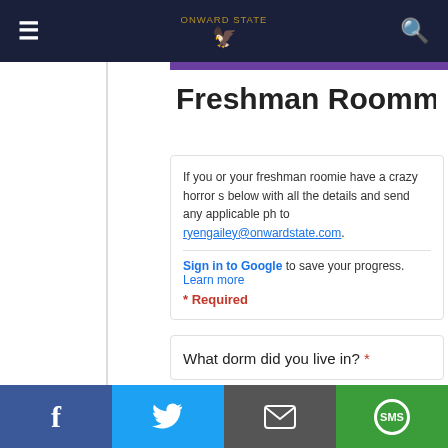Onward State navigation bar with hamburger menu and search icon
Freshman Roommate Ho[rror Stories]
If you or your freshman roomie have a crazy horror s[tory,] below with all the details and send any applicable ph[otos] to ryengailey@onwardstate.com.
Sign in to Google to save your progress. Learn more
* Required
What dorm did you live in? *
[Figure (photo): Advertisement showing cruise ships docked at port with blue sky background]
Empty Alaska Cruise Cabins Cost Almost Nothing
Alaska Cruise Deals | sponsored searches | Sponsored
Social sharing bar: Facebook, Twitter, Email, SMS